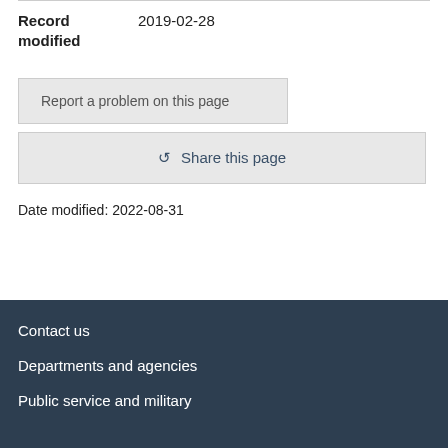Record modified   2019-02-28
Report a problem on this page
Share this page
Date modified: 2022-08-31
Contact us
Departments and agencies
Public service and military